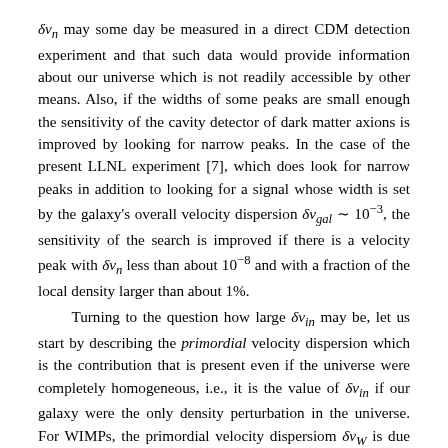δv_n may some day be measured in a direct CDM detection experiment and that such data would provide information about our universe which is not readily accessible by other means. Also, if the widths of some peaks are small enough the sensitivity of the cavity detector of dark matter axions is improved by looking for narrow peaks. In the case of the present LLNL experiment [7], which does look for narrow peaks in addition to looking for a signal whose width is set by the galaxy's overall velocity dispersion δv_gal ~ 10^{-3}, the sensitivity of the search is improved if there is a velocity peak with δv_n less than about 10^{-8} and with a fraction of the local density larger than about 1%.
Turning to the question how large δv_in may be, let us start by describing the primordial velocity dispersion which is the contribution that is present even if the universe were completely homogeneous, i.e., it is the value of δv_in if our galaxy were the only density perturbation in the universe. For WIMPs, the primordial velocity dispersiom δv_W is due to the finite temperature T_D the WIMPs have when their